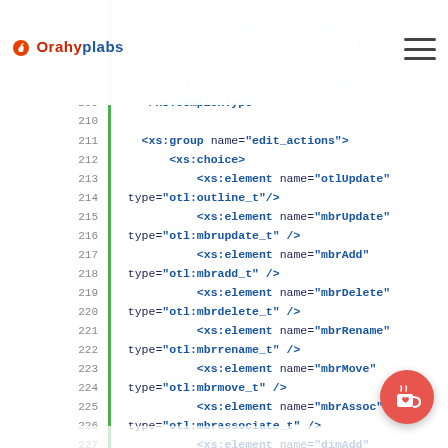OrahyPlabs logo and hamburger menu
Code listing lines 204-232 showing XML schema definition with xs:complexType, xs:attribute, xs:group, xs:choice, xs:element elements